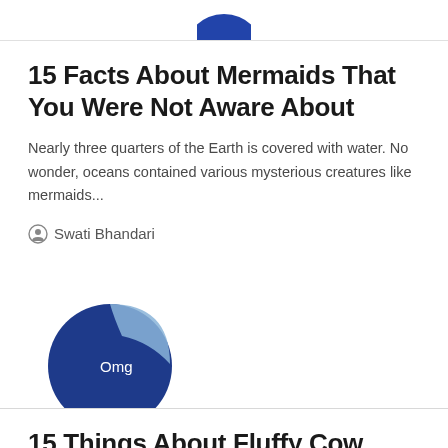[Figure (illustration): Partial blue circle/logo visible at top of page, cropped]
15 Facts About Mermaids That You Were Not Aware About
Nearly three quarters of the Earth is covered with water. No wonder, oceans contained various mysterious creatures like mermaids...
Swati Bhandari
[Figure (illustration): A dark blue pie/donut shape with a light blue curved section at top right, labeled 'Omg' in white text]
15 Things About Fluffy Cow That